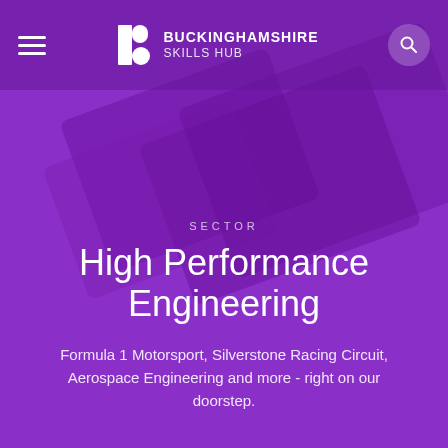[Figure (screenshot): Buckinghamshire Skills Hub website header on purple background with hamburger menu, logo with geometric B icon, and search button]
BUCKINGHAMSHIRE SKILLS HUB
SECTOR
High Performance Engineering
Formula 1 Motorsport, Silverstone Racing Circuit, Aerospace Engineering and more - right on our doorstep.